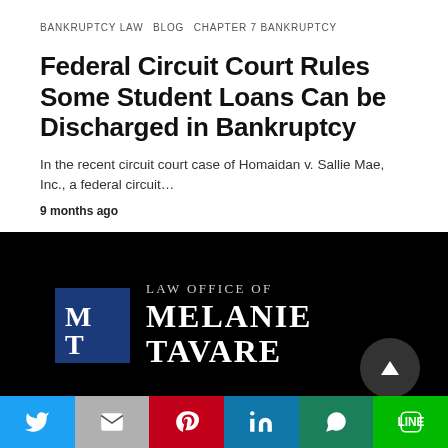BANKRUPTCY LAW   BLOG   CHAPTER 7 BANKRUPTCY
Federal Circuit Court Rules Some Student Loans Can be Discharged in Bankruptcy
In the recent circuit court case of Homaidan v. Sallie Mae, Inc., a federal circuit…
9 months ago
[Figure (logo): Law Office of Melanie Tavare logo — dark background with stylized MT monogram and firm name]
FOLLOW US